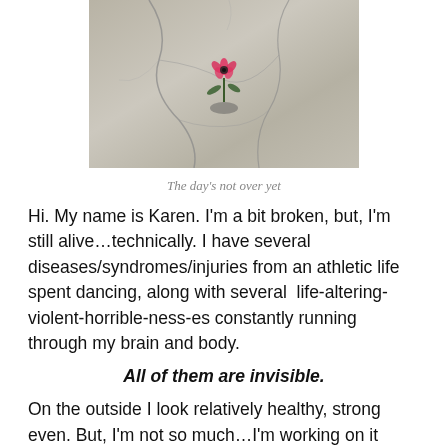[Figure (photo): A pink flower growing through a crack in concrete pavement, with shadow visible beneath it.]
The day’s not over yet
Hi. My name is Karen. I’m a bit broken, but, I’m still alive…technically. I have several diseases/syndromes/injuries from an athletic life spent dancing, along with several life-altering-violent-horrible-ness-es constantly running through my brain and body.
All of them are invisible.
On the outside I look relatively healthy, strong even. But, I’m not so much…I’m working on it though…Maybe if I share some of the crap I’ve drudged/am drudging through, I can comfort or ease or inspire someone else